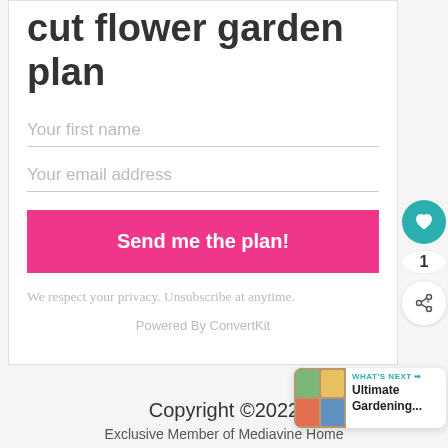cut flower garden plan
Your first name
Your email address
Send me the plan!
We respect your privacy. Unsubscribe at anytime.
Powered By ConvertKit
1
Copyright ©2022
Exclusive Member of Mediavine Home
WHAT'S NEXT → Ultimate Gardening...